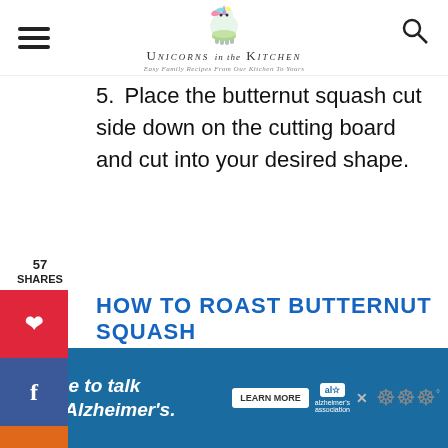Unicorns in the Kitchen — Easy Family Recipes From Our Kitchen To Yours
5. Place the butternut squash cut side down on the cutting board and cut into your desired shape.
57 SHARES
HOW TO ROAST BUTTERNUT SQUASH
1. Preheat the oven to 400°F.
2. Place sliced butternut squash on the baking sheet and drizzle with 1-2 tablespoons olive oil. Add your
[Figure (other): Alzheimer's Association advertisement banner: It's time to talk about Alzheimer's. Learn More button.]